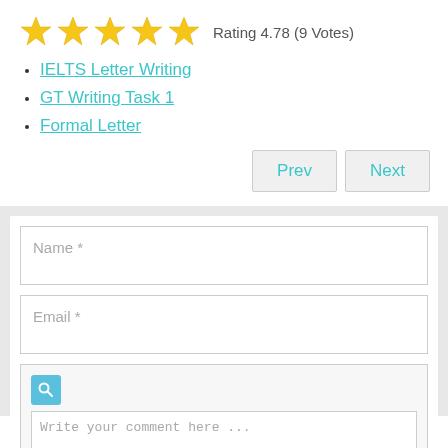[Figure (other): Five gold star rating icons with text 'Rating 4.78 (9 Votes)']
IELTS Letter Writing
GT Writing Task 1
Formal Letter
Prev   Next (navigation buttons)
Name *
Email *
Write your comment here ...